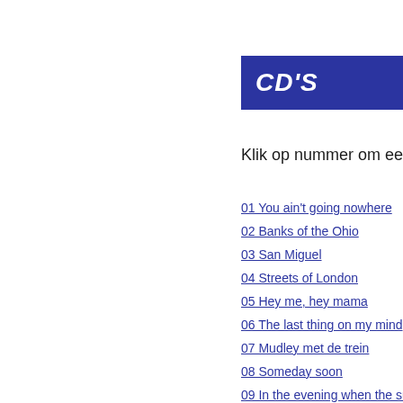CD'S
Klik op nummer om een fra
01 You ain't going nowhere
02 Banks of the Ohio
03 San Miguel
04 Streets of London
05 Hey me, hey mama
06 The last thing on my mind
07 Mudley met de trein
08 Someday soon
09 In the evening when the sun g
10 I'll be your baby tonight